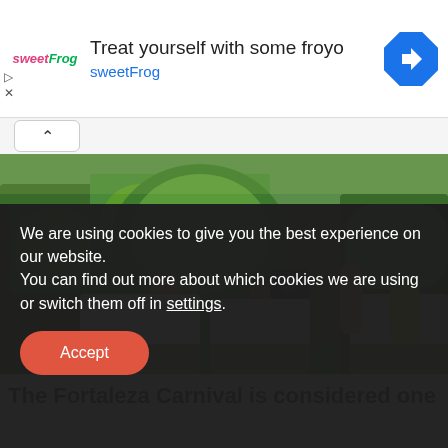[Figure (advertisement): sweetFrog frozen yogurt ad banner with logo, text 'Treat yourself with some froyo sweetFrog', and navigation icon]
[Figure (photo): Carnival performers in green and white outfits at the Fortaleza Carnival]
The Fortaleza Carnival is considered one
We are using cookies to give you the best experience on our website.
You can find out more about which cookies we are using or switch them off in settings.
Accept